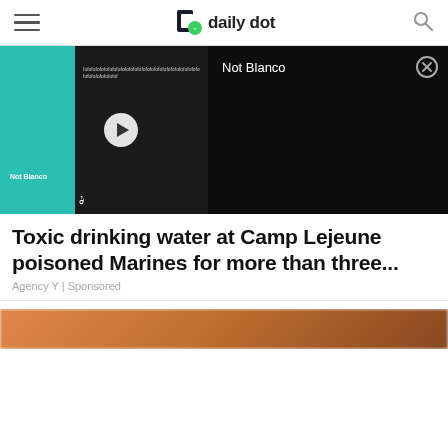daily dot
[Figure (screenshot): Video player embed showing a TikTok video thumbnail with teal/cyan background and a dark panel on the right. Left side shows 'Not Blanco' overlay text with a play button. Right side dark panel shows title 'Not Blanco' and a close (X) button.]
Toxic drinking water at Camp Lejeune poisoned Marines for more than three...
Agency Y | Sponsored
[Figure (photo): Partial image strip at the bottom showing what appears to be a blurred/cropped photo with orange-brown tones.]